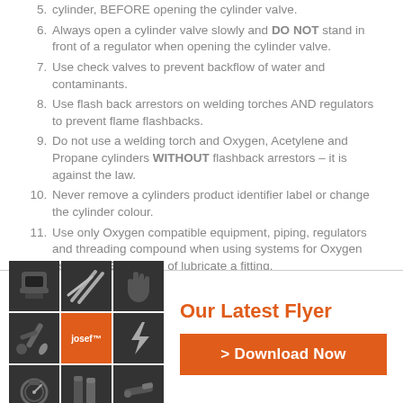cylinder, BEFORE opening the cylinder valve.
Always open a cylinder valve slowly and DO NOT stand in front of a regulator when opening the cylinder valve.
Use check valves to prevent backflow of water and contaminants.
Use flash back arrestors on welding torches AND regulators to prevent flame flashbacks.
Do not use a welding torch and Oxygen, Acetylene and Propane cylinders WITHOUT flashback arrestors – it is against the law.
Never remove a cylinders product identifier label or change the cylinder colour.
Use only Oxygen compatible equipment, piping, regulators and threading compound when using systems for Oxygen use.  NEVER grease of lubricate a fitting.
[Figure (illustration): 3x3 grid of dark icons representing welding/gas equipment tools, with Josef logo in center cell]
Our Latest Flyer
> Download Now